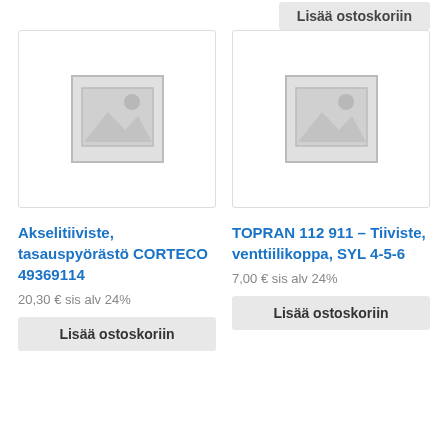Lisää ostoskoriin
[Figure (photo): Placeholder image for product Akselitiiviste, tasauspyörästö CORTECO 49369114]
[Figure (photo): Placeholder image for product TOPRAN 112 911 – Tiiviste, venttiilikoppa, SYL 4-5-6]
Akselitiiviste, tasauspyörästö CORTECO 49369114
TOPRAN 112 911 – Tiiviste, venttiilikoppa, SYL 4-5-6
20,30 € sis alv 24%
7,00 € sis alv 24%
Lisää ostoskoriin
Lisää ostoskoriin